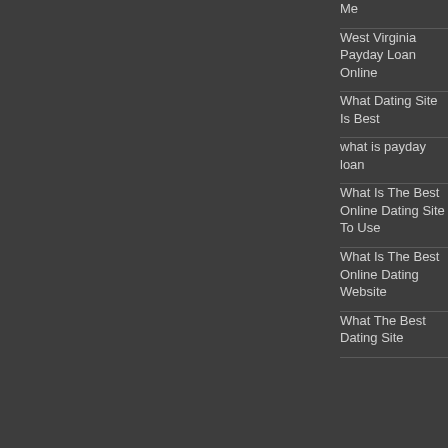Me
West Virginia Payday Loan Online
What Dating Site Is Best
what is payday loan
What Is The Best Online Dating Site To Use
What Is The Best Online Dating Website
What The Best Dating Site